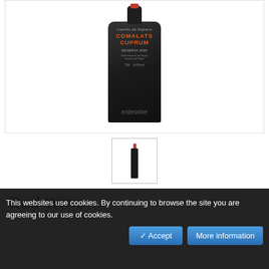[Figure (photo): Dark wine bottle with label reading COMALATS CUPRUM RESERVA on a white background with enterwine watermark]
[Figure (photo): Small thumbnail image of the same dark wine bottle with red top]
Red Wine
This websites use cookies. By continuing to browse the site you are agreeing to our use of cookies.